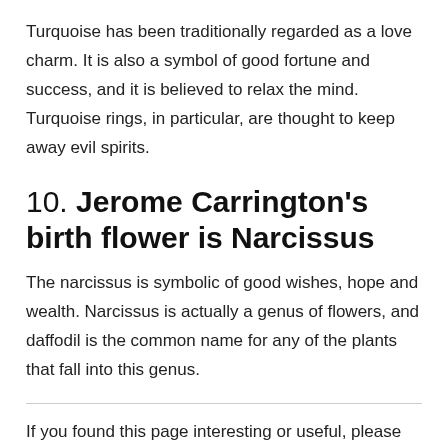Turquoise has been traditionally regarded as a love charm. It is also a symbol of good fortune and success, and it is believed to relax the mind. Turquoise rings, in particular, are thought to keep away evil spirits.
10. Jerome Carrington's birth flower is Narcissus
The narcissus is symbolic of good wishes, hope and wealth. Narcissus is actually a genus of flowers, and daffodil is the common name for any of the plants that fall into this genus.
If you found this page interesting or useful, please share it. We will continue to update this page, so bookmark it and come